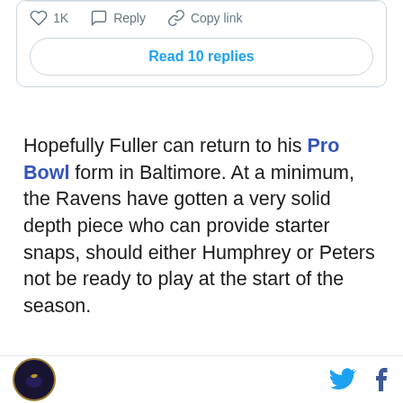[Figure (screenshot): Twitter/X post interaction buttons: heart icon with 1K likes, reply icon with Reply text, chain link icon with Copy link text, and a Read 10 replies button]
Hopefully Fuller can return to his Pro Bowl form in Baltimore. At a minimum, the Ravens have gotten a very solid depth piece who can provide starter snaps, should either Humphrey or Peters not be ready to play at the start of the season.
[Figure (screenshot): DraftKings Sportsbook ad banner with green header showing Bet Now! button and DraftKings Sportsbook logo, and white body showing Lamar Jackson text]
Baltimore Ravens logo, Twitter bird icon, Facebook f icon